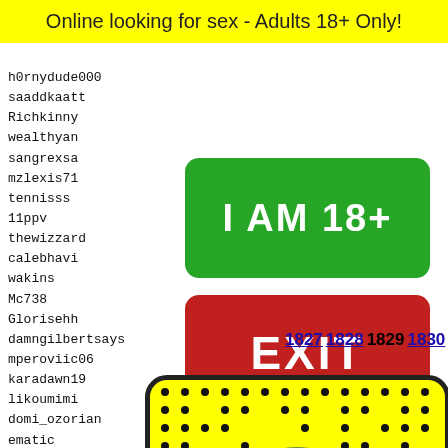Online looking for sex - Adults 18+ Only!
h0rnydude000
saaddkaatt
Richkinny
wealthyan
sangrexsa
mzlexis71
tennisss
11ppv
thewizzard
calebhavi
wakins
Mc738
Glorisehh
damngilbertsays
mperoviic06
karadawn19
likoumimi
domi_ozorian
ematic
zelapo...
giisel
simono
jeyjey
fetish
ludo10
pandab
[Figure (other): Green button with white bold text: I AM 18+]
[Figure (other): Red button with white bold text: EXIT]
1827 1828 1829 1830 1831
[Figure (illustration): Yellow rounded rectangle with black border containing dot grid pattern and a frog/toad emoji face at bottom]